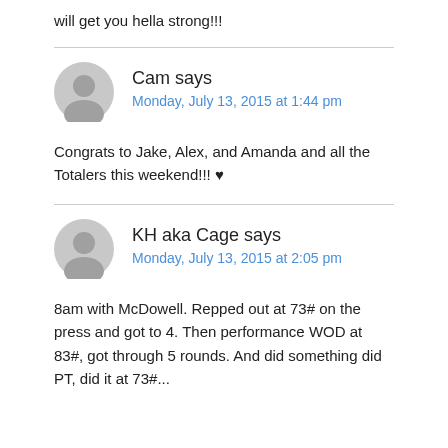will get you hella strong!!!
[Figure (illustration): Generic user avatar (gray silhouette)]
Cam says
Monday, July 13, 2015 at 1:44 pm
Congrats to Jake, Alex, and Amanda and all the Totalers this weekend!!! ♥
[Figure (illustration): Generic user avatar (gray silhouette)]
KH aka Cage says
Monday, July 13, 2015 at 2:05 pm
8am with McDowell. Repped out at 73# on the press and got to 4. Then performance WOD at 83#, got through 5 rounds. And did something did PT, did it at 73#...